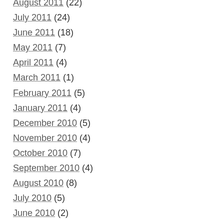August 2011 (22)
July 2011 (24)
June 2011 (18)
May 2011 (7)
April 2011 (4)
March 2011 (1)
February 2011 (5)
January 2011 (4)
December 2010 (5)
November 2010 (4)
October 2010 (7)
September 2010 (4)
August 2010 (8)
July 2010 (5)
June 2010 (2)
May 2010 (3)
April 2010 (2)
March 2010 (4)
February 2010 (3)